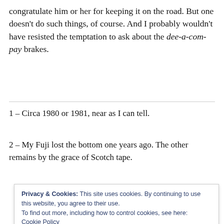congratulate him or her for keeping it on the road. But one doesn't do such things, of course. And I probably wouldn't have resisted the temptation to ask about the dee-a-com-pay brakes.
1 – Circa 1980 or 1981, near as I can tell.
2 – My Fuji lost the bottom one years ago. The other remains by the grace of Scotch tape.
Privacy & Cookies: This site uses cookies. By continuing to use this website, you agree to their use.
To find out more, including how to control cookies, see here:
Cookie Policy
Close and accept